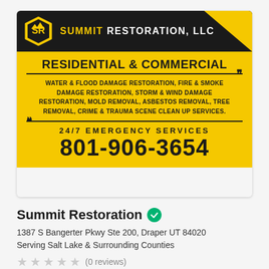[Figure (logo): Summit Restoration, LLC advertisement banner with dark header containing logo and company name, yellow body with tagline RESIDENTIAL & COMMERCIAL, list of services, 24/7 EMERGENCY SERVICES, phone number 801-906-3654]
Summit Restoration
1387 S Bangerter Pkwy Ste 200, Draper UT 84020
Serving Salt Lake & Surrounding Counties
(0 reviews)